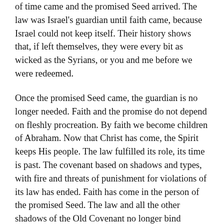of time came and the promised Seed arrived. The law was Israel's guardian until faith came, because Israel could not keep itself. Their history shows that, if left themselves, they were every bit as wicked as the Syrians, or you and me before we were redeemed.
Once the promised Seed came, the guardian is no longer needed. Faith and the promise do not depend on fleshly procreation. By faith we become children of Abraham. Now that Christ has come, the Spirit keeps His people. The law fulfilled its role, its time is past. The covenant based on shadows and types, with fire and threats of punishment for violations of its law has ended. Faith has come in the person of the promised Seed. The law and all the other shadows of the Old Covenant no longer bind anyone with chains but, as the Spirit gives the light of understanding, serve to instruct us about our innate weakness and need for humility before God and fellow man. Just as we read with New Covenant clarity from Jesus, Paul, Peter, and John.